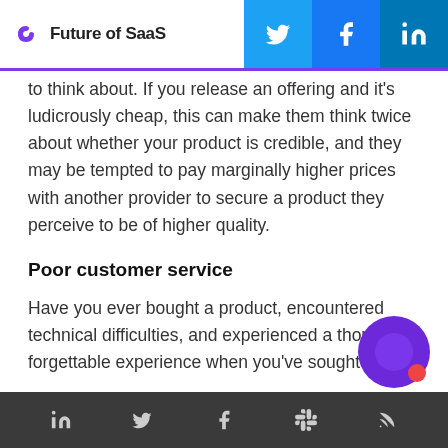Future of SaaS
to think about. If you release an offering and it's ludicrously cheap, this can make them think twice about whether your product is credible, and they may be tempted to pay marginally higher prices with another provider to secure a product they perceive to be of higher quality.
Poor customer service
Have you ever bought a product, encountered technical difficulties, and experienced a thoroughly forgettable experience when you’ve sought help?
If so, you’ll be au fait with one of the main reasons so many companies experience high levels of custo